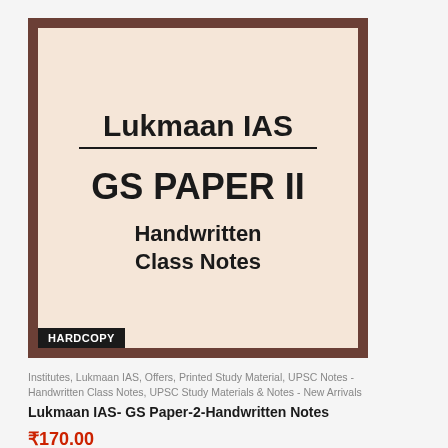[Figure (illustration): Book cover for Lukmaan IAS GS Paper II Handwritten Class Notes. Brown border frame with beige/cream interior. Contains brand name 'Lukmaan IAS' underlined, 'GS PAPER II' in large bold text, 'Handwritten Class Notes' below, and a black 'HARDCOPY' label at bottom-left corner.]
Institutes, Lukmaan IAS, Offers, Printed Study Material, UPSC Notes - Handwritten Class Notes, UPSC Study Materials & Notes - New Arrivals
Lukmaan IAS- GS Paper-2-Handwritten Notes
₹170.00